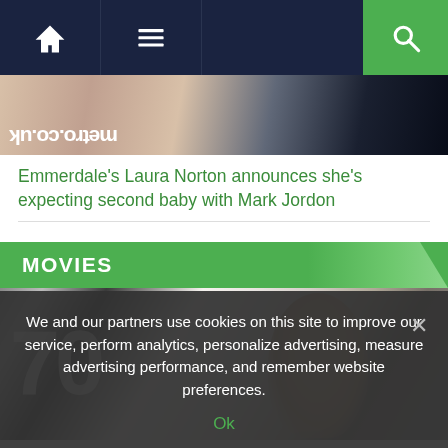[Figure (screenshot): Website navigation bar with home icon, hamburger menu icon, and search icon on dark navy background with green search button]
[Figure (photo): Partial photo showing a person, with Metro.co.uk logo displayed in mirrored/flipped orientation]
Emmerdale's Laura Norton announces she's expecting second baby with Mark Jordon
MOVIES
[Figure (photo): Photo of a man with short light hair in front of large letters/signage, likely a movie premiere]
We and our partners use cookies on this site to improve our service, perform analytics, personalize advertising, measure advertising performance, and remember website preferences.
Ok